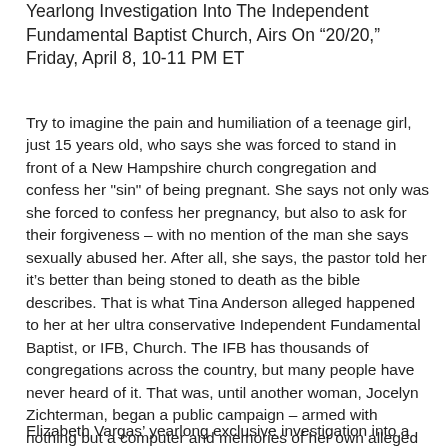Yearlong Investigation Into The Independent Fundamental Baptist Church, Airs On “20/20,” Friday, April 8, 10-11 PM ET
Try to imagine the pain and humiliation of a teenage girl, just 15 years old, who says she was forced to stand in front of a New Hampshire church congregation and confess her "sin" of being pregnant. She says not only was she forced to confess her pregnancy, but also to ask for their forgiveness – with no mention of the man she says sexually abused her. After all, she says, the pastor told her it’s better than being stoned to death as the bible describes. That is what Tina Anderson alleged happened to her at her ultra conservative Independent Fundamental Baptist, or IFB, Church. The IFB has thousands of congregations across the country, but many people have never heard of it. That was, until another woman, Jocelyn Zichterman, began a public campaign – armed with nothing but a computer and memories of her own alleged abuse that she says church beliefs can foster. And survivors are now coming out of the woodwork, to say she’s not alone.
Elizabeth Vargas’ yearlong exclusive investigation into a